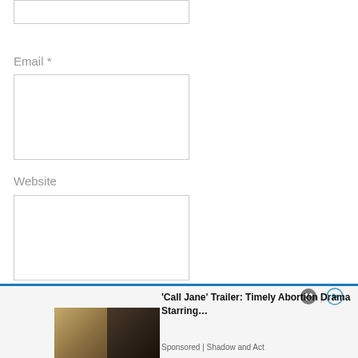Email *
Website
Post Comment
[Figure (screenshot): Advertisement banner at bottom of page showing 'Call Jane' Trailer with two women in image, sponsored by Shadow and Act]
'Call Jane' Trailer: Timely Abortion Drama Starring...
Sponsored | Shadow and Act